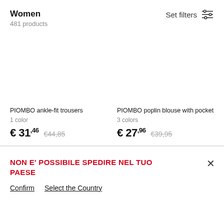Women
481 products
Set filters
PIOMBO ankle-fit trousers
1 color
€ 31,46  €44,85
PIOMBO poplin blouse with pocket
3 colors
€ 27,96  €39,95
NON E' POSSIBILE SPEDIRE NEL TUO PAESE
Confirm   Select the Country